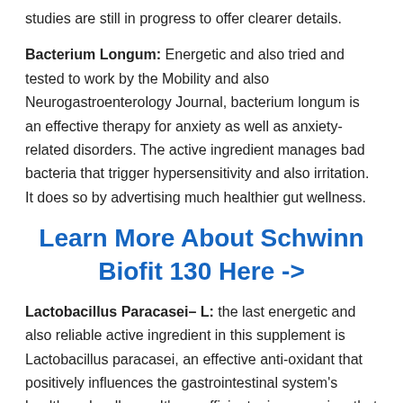studies are still in progress to offer clearer details.
Bacterium Longum: Energetic and also tried and tested to work by the Mobility and also Neurogastroenterology Journal, bacterium longum is an effective therapy for anxiety as well as anxiety-related disorders. The active ingredient manages bad bacteria that trigger hypersensitivity and also irritation. It does so by advertising much healthier gut wellness.
Learn More About Schwinn Biofit 130 Here ->
Lactobacillus Paracasei– L: the last energetic and also reliable active ingredient in this supplement is Lactobacillus paracasei, an effective anti-oxidant that positively influences the gastrointestinal system's health and wellness. It's an efficient microorganism that functions by preventing the diarrhea-causing germs activities,